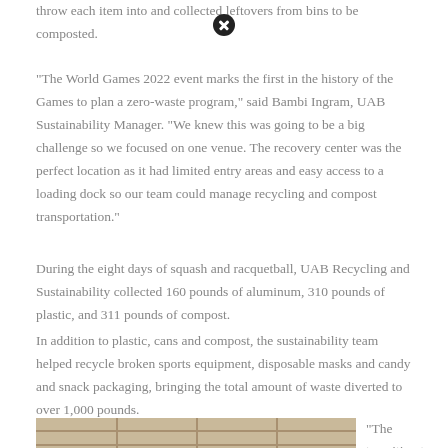throw each item into and collected leftovers from bins to be composted.
"The World Games 2022 event marks the first in the history of the Games to plan a zero-waste program," said Bambi Ingram, UAB Sustainability Manager. "We knew this was going to be a big challenge so we focused on one venue. The recovery center was the perfect location as it had limited entry areas and easy access to a loading dock so our team could manage recycling and compost transportation."
During the eight days of squash and racquetball, UAB Recycling and Sustainability collected 160 pounds of aluminum, 310 pounds of plastic, and 311 pounds of compost.
In addition to plastic, cans and compost, the sustainability team helped recycle broken sports equipment, disposable masks and candy and snack packaging, bringing the total amount of waste diverted to over 1,000 pounds.
[Figure (photo): Photo of a beige/tan brick wall at the UAB recovery center venue]
"The transition to zero waste is an